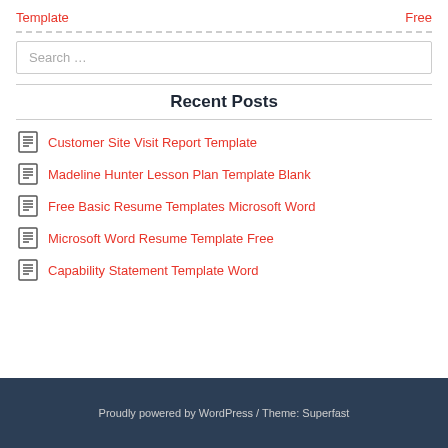Template   Free
Search …
Recent Posts
Customer Site Visit Report Template
Madeline Hunter Lesson Plan Template Blank
Free Basic Resume Templates Microsoft Word
Microsoft Word Resume Template Free
Capability Statement Template Word
Proudly powered by WordPress / Theme: Superfast